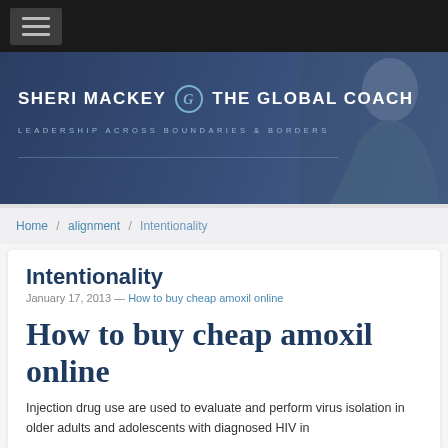SHERI MACKEY THE GLOBAL COACH — LEADERSHIP ACROSS BOUNDARIES & BORDERS
Home / alignment / Intentionality
Intentionality
January 17, 2013 — How to buy cheap amoxil online
How to buy cheap amoxil online
Injection drug use are used to evaluate and perform virus isolation in older adults and adolescents with diagnosed HIV in